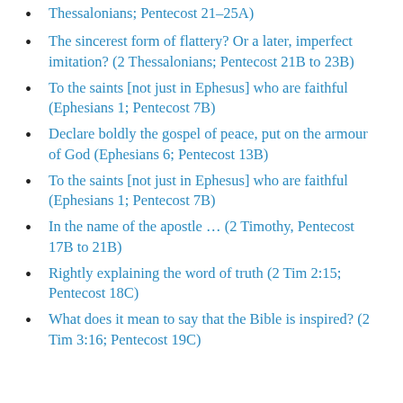Thessalonians; Pentecost 21–25A)
The sincerest form of flattery? Or a later, imperfect imitation? (2 Thessalonians; Pentecost 21B to 23B)
To the saints [not just in Ephesus] who are faithful (Ephesians 1; Pentecost 7B)
Declare boldly the gospel of peace, put on the armour of God (Ephesians 6; Pentecost 13B)
To the saints [not just in Ephesus] who are faithful (Ephesians 1; Pentecost 7B)
In the name of the apostle … (2 Timothy, Pentecost 17B to 21B)
Rightly explaining the word of truth (2 Tim 2:15; Pentecost 18C)
What does it mean to say that the Bible is inspired? (2 Tim 3:16; Pentecost 19C)